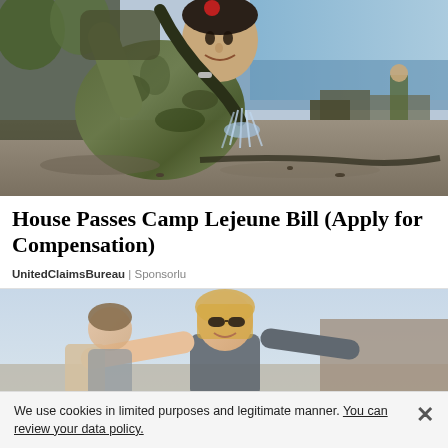[Figure (photo): Military person in camouflage uniform bending forward with water splashing from a hose, outdoor setting near water with military vehicles and another soldier in background]
House Passes Camp Lejeune Bill (Apply for Compensation)
UnitedClaimsBureau | Sponsorlu
[Figure (photo): Woman with blonde hair and sunglasses smiling outdoors, holding something, bright sunny day]
We use cookies in limited purposes and legitimate manner. You can review your data policy.